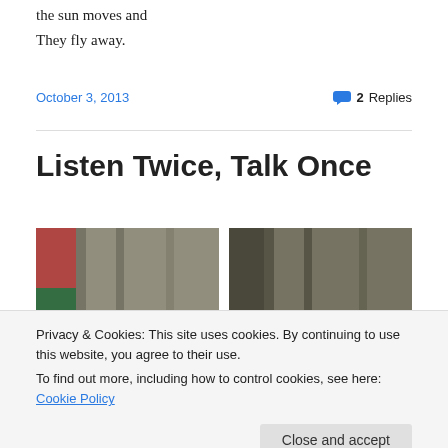the sun moves and
They fly away.
October 3, 2013    2 Replies
Listen Twice, Talk Once
[Figure (photo): Two side-by-side photos of weathered wooden fence boards, one showing red and green painted wood on the left, and dark weathered wood on the right.]
Privacy & Cookies: This site uses cookies. By continuing to use this website, you agree to their use. To find out more, including how to control cookies, see here: Cookie Policy
Maybe it counts as not heeding my own pithy advice, but I